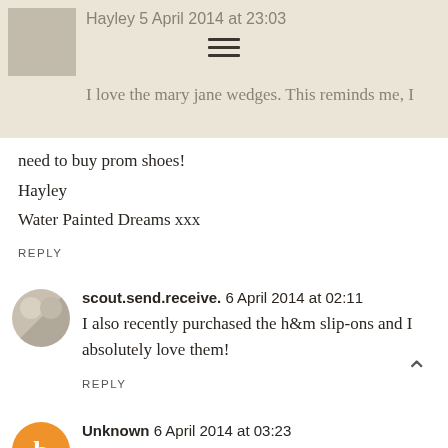Hayley 5 April 2014 at 23:03
I love the mary jane wedges. This reminds me, I need to buy prom shoes!
Hayley
Water Painted Dreams xxx
REPLY
scout.send.receive. 6 April 2014 at 02:11
I also recently purchased the h&m slip-ons and I absolutely love them!
REPLY
Unknown 6 April 2014 at 03:23
I can't choose my favourite pair. I love all the